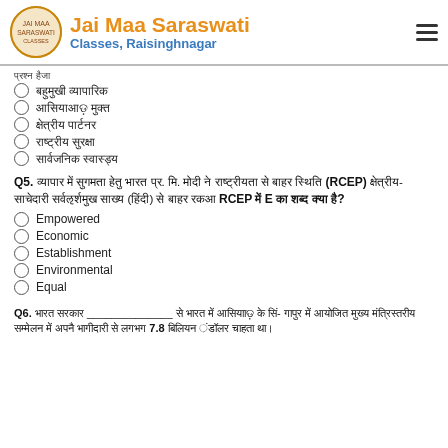Jai Maa Saraswati Classes, Raisinghnagar
[Hindi option 1]
[Hindi option 2]
[Hindi option 3]
[Hindi option 4]
[Hindi option 5]
Q5. [Hindi question text about RCEP] What does E stand for in RCEP?
Empowered
Economic
Establishment
Environmental
Equal
Q6. [Hindi question text with blank] 7.8 [Hindi continuation]